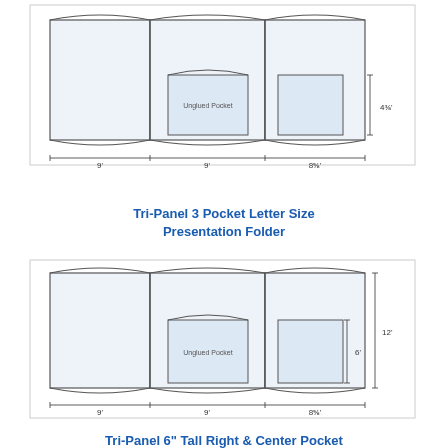[Figure (engineering-diagram): Top portion of Tri-Panel 3 Pocket Letter Size Presentation Folder engineering diagram showing flat unfolded view with panels, pockets, and dimension annotations: 9', 9', 8⅝' widths, 4⅜' height, Unglued Pocket label]
Tri-Panel 3 Pocket Letter Size Presentation Folder
[Figure (engineering-diagram): Tri-Panel 6" Tall Right & Center Pocket presentation folder engineering diagram showing flat unfolded view with panels, pockets labeled Unglued Pocket, dimension annotations: 9', 9', 8⅝' widths, 12' height, 6' pocket height]
Tri-Panel 6" Tall Right & Center Pocket